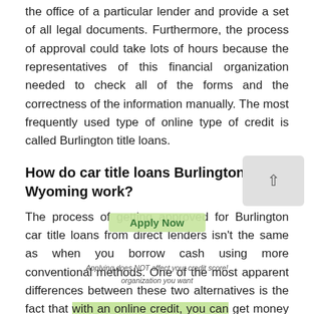the office of a particular lender and provide a set of all legal documents. Furthermore, the process of approval could take lots of hours because the representatives of this financial organization needed to check all of the forms and the correctness of the information manually. The most frequently used type of online type of credit is called Burlington title loans.
How do car title loans Burlington in Wyoming work?
The process of getting approved for Burlington car title loans from direct lenders isn't the same as when you borrow cash using more conventional methods. One of the most apparent differences between these two alternatives is the fact that with an online credit, you can get money via the website of the lender. The only activity you are recommended to do before applying for the loan is to find a particular financial organization you want to cooperate with, b